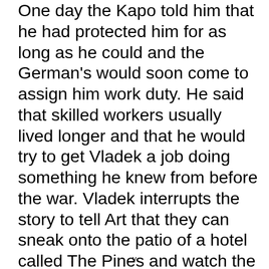One day the Kapo told him that he had protected him for as long as he could and the German's would soon come to assign him work duty. He said that skilled workers usually lived longer and that he would try to get Vladek a job doing something he knew from before the war. Vladek interrupts the story to tell Art that they can sneak onto the patio of a hotel called The Pines and watch the bingo tournament. Art agrees and Vladek tells him that Mala never wanted to watch bingo with him.
v